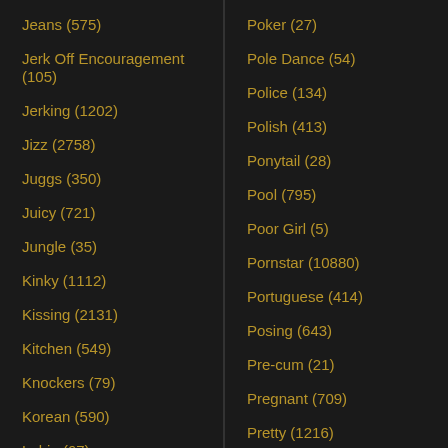Jeans (575)
Jerk Off Encouragement (105)
Jerking (1202)
Jizz (2758)
Juggs (350)
Juicy (721)
Jungle (35)
Kinky (1112)
Kissing (2131)
Kitchen (549)
Knockers (79)
Korean (590)
Labia (67)
Lace (330)
Lactating (184)
Lady (1031)
Poker (27)
Pole Dance (54)
Police (134)
Polish (413)
Ponytail (28)
Pool (795)
Poor Girl (5)
Pornstar (10880)
Portuguese (414)
Posing (643)
Pre-cum (21)
Pregnant (709)
Pretty (1216)
Princess (285)
Prison (93)
Private (585)